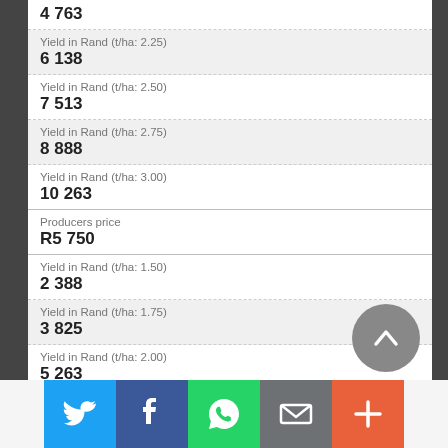4 763
Yield in Rand (t/ha: 2.25)
6 138
Yield in Rand (t/ha: 2.50)
7 513
Yield in Rand (t/ha: 2.75)
8 888
Yield in Rand (t/ha: 3.00)
10 263
Producers price
R5 750
Yield in Rand (t/ha: 1.50)
2 388
Yield in Rand (t/ha: 1.75)
3 825
Yield in Rand (t/ha: 2.00)
5 263